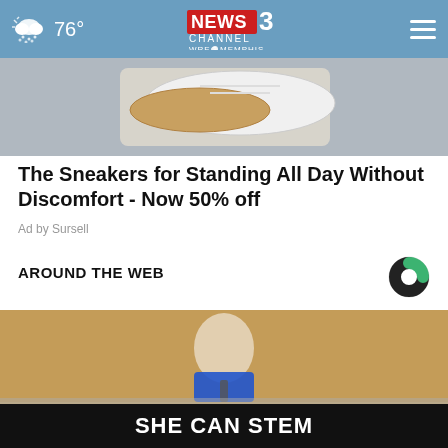76° NEWS 3 CHANNEL WREG MEMPHIS
[Figure (photo): Close-up photo of sneakers on feet]
The Sneakers for Standing All Day Without Discomfort - Now 50% off
Ad by Sursell
AROUND THE WEB
[Figure (logo): Taboola 'C' logo in green and black]
[Figure (photo): Woman in blue blazer standing at podium, with 'SHE CAN STEM' banner overlay]